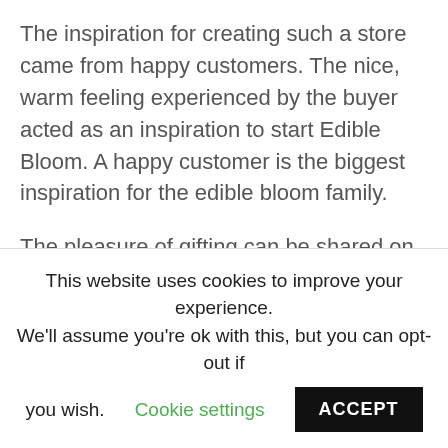The inspiration for creating such a store came from happy customers. The nice, warm feeling experienced by the buyer acted as an inspiration to start Edible Bloom. A happy customer is the biggest inspiration for the edible bloom family.
The pleasure of gifting can be shared on occasions like staff recognition, father's day, mother's day, wedding anniversary, corporate gifting, etc.
According to Kelley and Abbey, “that
This website uses cookies to improve your experience. We'll assume you're ok with this, but you can opt-out if you wish. Cookie settings ACCEPT